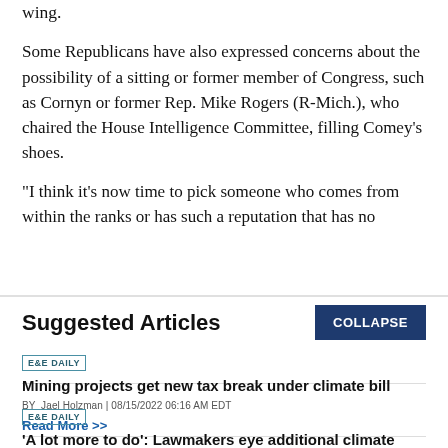wing.
Some Republicans have also expressed concerns about the possibility of a sitting or former member of Congress, such as Cornyn or former Rep. Mike Rogers (R-Mich.), who chaired the House Intelligence Committee, filling Comey's shoes.
"I think it's now time to pick someone who comes from within the ranks or has such a reputation that has no
Suggested Articles
E&E DAILY
Mining projects get new tax break under climate bill
BY Jael Holzman | 08/15/2022 06:16 AM EDT
Read More >>
E&E DAILY
'A lot more to do': Lawmakers eye additional climate action